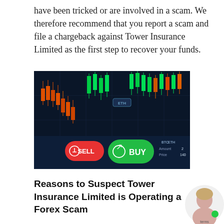have been tricked or are involved in a scam. We therefore recommend that you report a scam and file a chargeback against Tower Insurance Limited as the first step to recover your funds.
[Figure (photo): Trading platform screenshot showing candlestick chart with green and red candles against a dark blue background. Large red SELL button and green BUY button visible at the bottom. ETH label visible on chart. BTC/ETH amount and price fields partially visible on right.]
Reasons to Suspect Tower Insurance Limited is Operating a Forex Scam